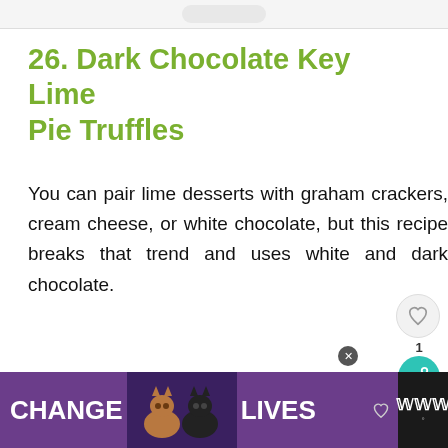26. Dark Chocolate Key Lime Pie Truffles
You can pair lime desserts with graham crackers, cream cheese, or white chocolate, but this recipe breaks that trend and uses white and dark chocolate.
Truffles are tricky, but these instructions are well written, plus LOTS of extra notes
[Figure (screenshot): What's Next banner showing '17 Can-Do Cranberry...' with food image]
[Figure (infographic): Ad banner reading CHANGE LIVES with cat images on purple background]